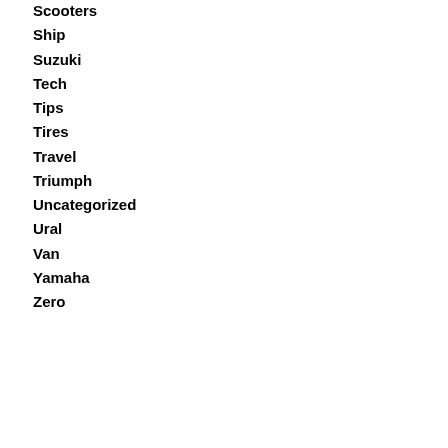Scooters
Ship
Suzuki
Tech
Tips
Tires
Travel
Triumph
Uncategorized
Ural
Van
Yamaha
Zero